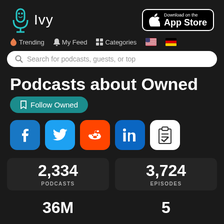[Figure (logo): Ivy podcast app logo with teal microphone icon and 'Ivy' text, plus App Store download button]
Trending  My Feed  Categories
Search for podcasts, guests, or top
Podcasts about Owned
Follow Owned
[Figure (infographic): Social media share icons: Facebook (blue), Twitter (blue), Reddit (orange), LinkedIn (blue), clipboard/checklist (white)]
2,334
PODCASTS
3,724
EPISODES
36M
5